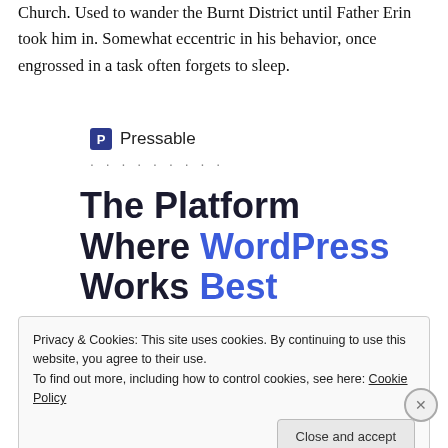Church. Used to wander the Burnt District until Father Erin took him in. Somewhat eccentric in his behavior, once engrossed in a task often forgets to sleep.
[Figure (logo): Pressable logo with icon and dotted separator line]
The Platform Where WordPress Works Best
Privacy & Cookies: This site uses cookies. By continuing to use this website, you agree to their use.
To find out more, including how to control cookies, see here: Cookie Policy